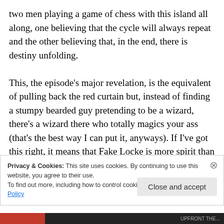two men playing a game of chess with this island all along, one believing that the cycle will always repeat and the other believing that, in the end, there is destiny unfolding.

This, the episode's major revelation, is the equivalent of pulling back the red curtain but, instead of finding a stumpy bearded guy pretending to be a wizard, there's a wizard there who totally magics your ass (that's the best way I can put it, anyways). If I've got this right, it means that Fake Locke is more spirit than person, capable of inhabiting the bodies of those who have died on the island.
Privacy & Cookies: This site uses cookies. By continuing to use this website, you agree to their use.
To find out more, including how to control cookies, see here: Cookie Policy
Close and accept